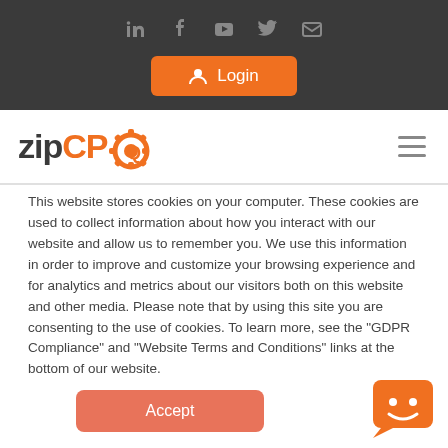[Figure (screenshot): Top dark navigation bar with social media icons (LinkedIn, Facebook, YouTube, Twitter, Email) and an orange Login button with user icon]
[Figure (logo): zipCPQ logo with gear icon in orange, hamburger menu icon on right]
This website stores cookies on your computer. These cookies are used to collect information about how you interact with our website and allow us to remember you. We use this information in order to improve and customize your browsing experience and for analytics and metrics about our visitors both on this website and other media. Please note that by using this site you are consenting to the use of cookies. To learn more, see the "GDPR Compliance" and "Website Terms and Conditions" links at the bottom of our website.
[Figure (other): Orange Accept button (rounded rectangle)]
[Figure (other): Orange chat widget icon in bottom right corner with smiley face]